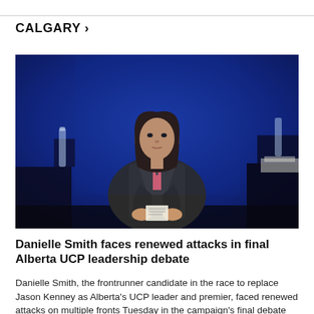CALGARY >
[Figure (photo): A woman with dark hair, wearing a grey blazer over a pink top, sitting at a debate stage with a blue textured background, holding papers.]
Danielle Smith faces renewed attacks in final Alberta UCP leadership debate
Danielle Smith, the frontrunner candidate in the race to replace Jason Kenney as Alberta's UCP leader and premier, faced renewed attacks on multiple fronts Tuesday in the campaign's final debate